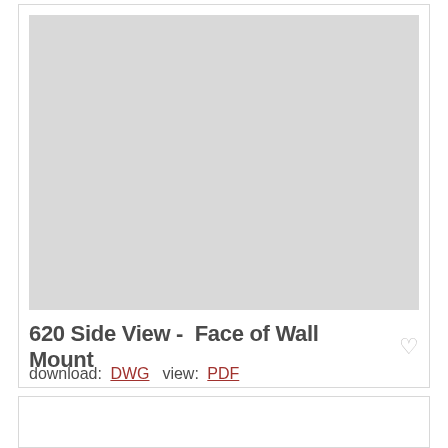[Figure (schematic): Gray placeholder thumbnail for a CAD drawing titled '620 Side View - Face of Wall Mount']
620 Side View -  Face of Wall  Mount
download:  DWG  view:  PDF